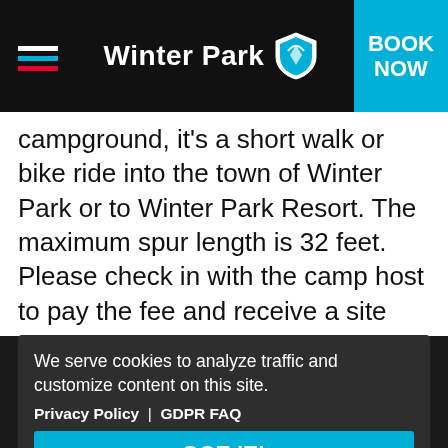Winter Park
campground, it's a short walk or bike ride into the town of Winter Park or to Winter Park Resort. The maximum spur length is 32 feet. Please check in with the camp host to pay the fee and receive a site assignment.
St. Louis Creek Campground
ELEVATION 8,900 | CAMPSITES: 16
(OPEN ... IONS CLUB)
We serve cookies to analyze traffic and customize content on this site.
Privacy Policy | GDPR FAQ
GOT IT!
St. Louis Creek Campground is located 4 miles southwest of Fraser off of County Rd. 73 in the Experimental Forest. There are 16 campsites on